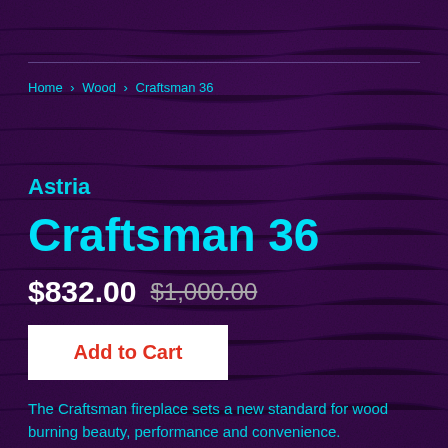Home › Wood › Craftsman 36
Astria
Craftsman 36
$832.00  $1,000.00
Add to Cart
The Craftsman fireplace sets a new standard for wood burning beauty, performance and convenience.